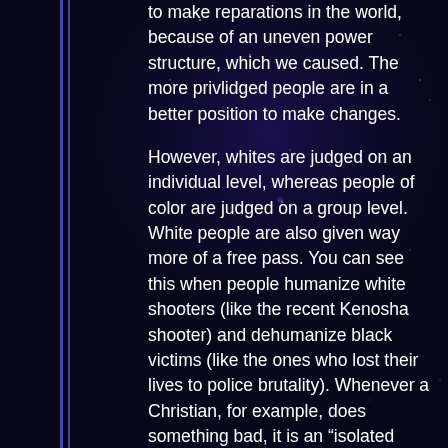to make reparations in the world, because of an uneven power structure, which we caused. The more privlidged people are in a better position to make changes.
However, whites are judged on an individual level, whereas people of color are judged on a group level. White people are also given way more of a free pass. You can see this when people humanize white shooters (like the recent Kenosha shooter) and dehumanize black victims (like the ones who lost their lives to police brutality). Whenever a Christian, for example, does something bad, it is an “isolated incident”, but if that same person were an atheist or a